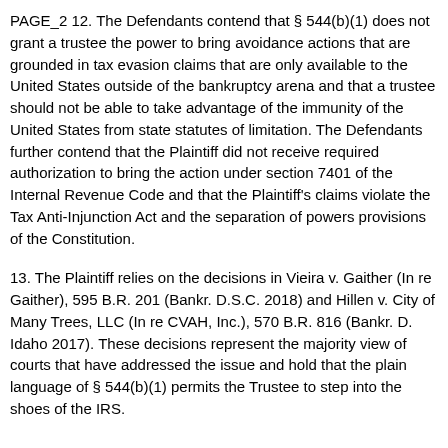PAGE_2 12. The Defendants contend that § 544(b)(1) does not grant a trustee the power to bring avoidance actions that are grounded in tax evasion claims that are only available to the United States outside of the bankruptcy arena and that a trustee should not be able to take advantage of the immunity of the United States from state statutes of limitation. The Defendants further contend that the Plaintiff did not receive required authorization to bring the action under section 7401 of the Internal Revenue Code and that the Plaintiff's claims violate the Tax Anti-Injunction Act and the separation of powers provisions of the Constitution.
13. The Plaintiff relies on the decisions in Vieira v. Gaither (In re Gaither), 595 B.R. 201 (Bankr. D.S.C. 2018) and Hillen v. City of Many Trees, LLC (In re CVAH, Inc.), 570 B.R. 816 (Bankr. D. Idaho 2017). These decisions represent the majority view of courts that have addressed the issue and hold that the plain language of § 544(b)(1) permits the Trustee to step into the shoes of the IRS.